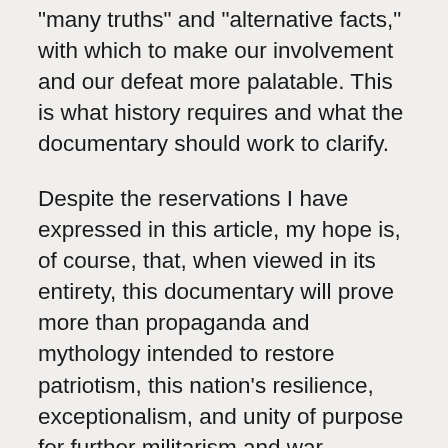"many truths" and "alternative facts," with which to make our involvement and our defeat more palatable. This is what history requires and what the documentary should work to clarify.
Despite the reservations I have expressed in this article, my hope is, of course, that, when viewed in its entirety, this documentary will prove more than propaganda and mythology intended to restore patriotism, this nation's resilience, exceptionalism, and unity of purpose for further militarism and war. Regardless of whether my hope is realized, I will use this documentary in my course on war this fall semester, whether it is to provide insight and a historical basis for understanding the nature of war in general and of the Vietnam War in particular, or to demonstrate the manner in which historians and artists may contribute to the appropriation of